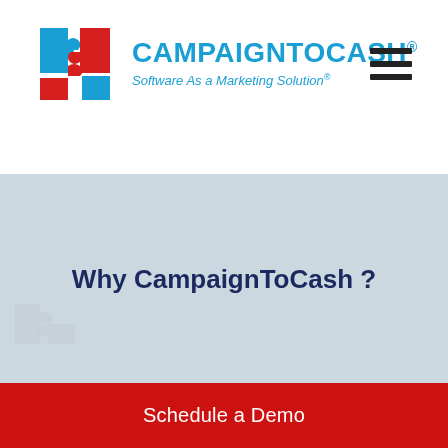[Figure (logo): CampaignToCash logo with blue puzzle pieces and text 'CampaignToCash® Software As a Marketing Solution®']
Why CampaignToCash ?
Schedule a Demo